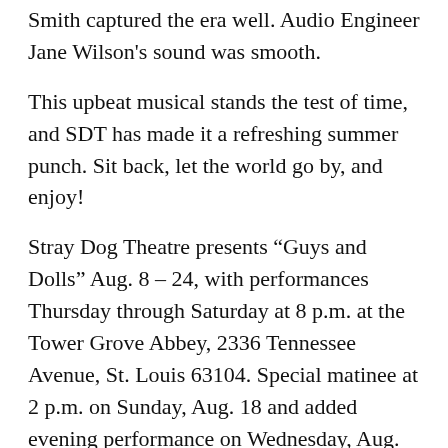Smith captured the era well. Audio Engineer Jane Wilson's sound was smooth.
This upbeat musical stands the test of time, and SDT has made it a refreshing summer punch. Sit back, let the world go by, and enjoy!
Stray Dog Theatre presents “Guys and Dolls” Aug. 8 – 24, with performances Thursday through Saturday at 8 p.m. at the Tower Grove Abbey, 2336 Tennessee Avenue, St. Louis 63104. Special matinee at 2 p.m. on Sunday, Aug. 18 and added evening performance on Wednesday, Aug. 21 at 8 p.m. Many shows are sold out or near sell-out, so visit the website at www.straydogtheatre.org or call 314-865-1995 for tickets or more information.